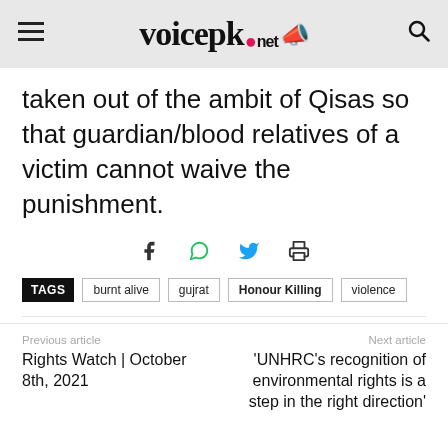voicepk.net
taken out of the ambit of Qisas so that guardian/blood relatives of a victim cannot waive the punishment.
[Figure (other): Social sharing icons: Facebook, WhatsApp, Twitter, Print]
TAGS  burnt alive  gujrat  Honour Killing  violence
Previous article
Rights Watch | October 8th, 2021
Next article
'UNHRC's recognition of environmental rights is a step in the right direction'